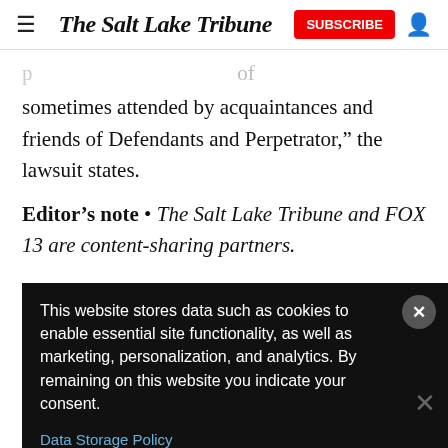The Salt Lake Tribune
sometimes attended by acquaintances and friends of Defendants and Perpetrator,” the lawsuit states.
Editor’s note • The Salt Lake Tribune and FOX 13 are content-sharing partners.
[Figure (screenshot): Cookie consent banner with dark background. Text: 'This website stores data such as cookies to enable essential site functionality, as well as marketing, personalization, and analytics. By remaining on this website you indicate your consent.' With a 'Data Storage Policy' link and a close button.]